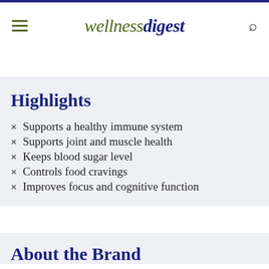wellnessdigest
Highlights
Supports a healthy immune system
Supports joint and muscle health
Keeps blood sugar level
Controls food cravings
Improves focus and cognitive function
About the Brand